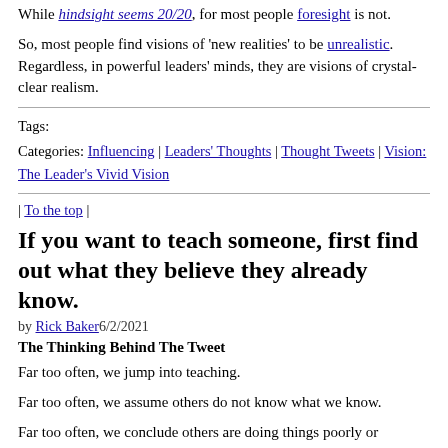While hindsight seems 20/20, for most people foresight is not.
So, most people find visions of 'new realities' to be unrealistic. Regardless, in powerful leaders' minds, they are visions of crystal-clear realism.
Tags:
Categories: Influencing | Leaders' Thoughts | Thought Tweets | Vision: The Leader's Vivid Vision
| To the top |
If you want to teach someone, first find out what they believe they already know.
by Rick Baker 6/2/2021
The Thinking Behind The Tweet
Far too often, we jump into teaching.
Far too often, we assume others do not know what we know.
Far too often, we conclude others are doing things poorly or incorrectly because they don't know what we know.
More often than not, we waste time and 'make work' when we assume and conclude others don't know what we know.
We can remedy this by asking simple questions before we give...